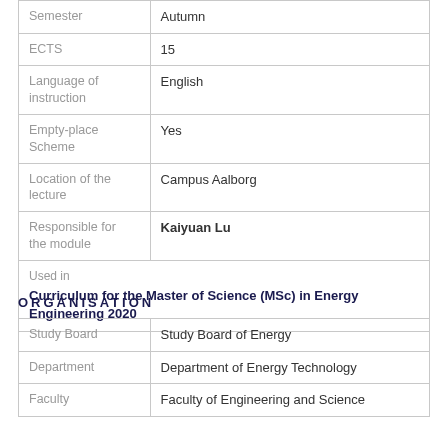| Semester | Autumn |
| ECTS | 15 |
| Language of instruction | English |
| Empty-place Scheme | Yes |
| Location of the lecture | Campus Aalborg |
| Responsible for the module | Kaiyuan Lu |
| Used in | Curriculum for the Master of Science (MSc) in Energy Engineering 2020 |
ORGANISATION
| Study Board | Study Board of Energy |
| Department | Department of Energy Technology |
| Faculty | Faculty of Engineering and Science |